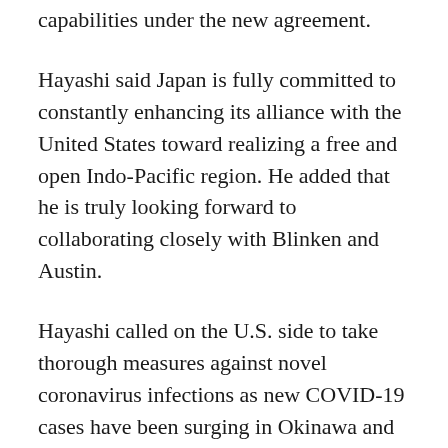capabilities under the new agreement.
Hayashi said Japan is fully committed to constantly enhancing its alliance with the United States toward realizing a free and open Indo-Pacific region. He added that he is truly looking forward to collaborating closely with Blinken and Austin.
Hayashi called on the U.S. side to take thorough measures against novel coronavirus infections as new COVID-19 cases have been surging in Okinawa and Yamaguchi prefectures, where U.S. military bases are located.
In response, Austin said that nothing is more important than the safety of local residents and U.S.